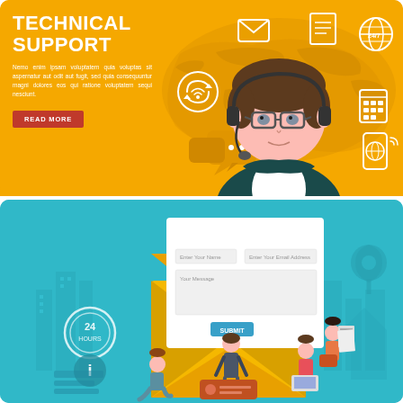[Figure (illustration): Technical support banner: yellow/orange background with a customer support agent wearing headset and glasses, surrounded by icons (email, globe 24/7, wifi, chat bubbles, phone, calendar, mobile globe). World map in background. Text: TECHNICAL SUPPORT with lorem ipsum body text and READ MORE button.]
[Figure (illustration): Contact form banner: teal/blue background with a large yellow envelope containing a white contact form (Enter Your Name, Enter Your Email Address, Your Message fields, SUBMIT button). Small figures of people around the envelope. Icons: 24h clock, info, location pin, buildings in background.]